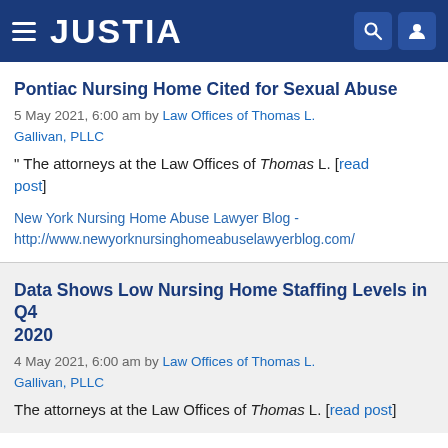JUSTIA
Pontiac Nursing Home Cited for Sexual Abuse
5 May 2021, 6:00 am by Law Offices of Thomas L. Gallivan, PLLC
" The attorneys at the Law Offices of Thomas L. [read post]
New York Nursing Home Abuse Lawyer Blog - http://www.newyorknursinghomeabuselawyerblog.com/
Data Shows Low Nursing Home Staffing Levels in Q4 2020
4 May 2021, 6:00 am by Law Offices of Thomas L. Gallivan, PLLC
The attorneys at the Law Offices of Thomas L. [read post]